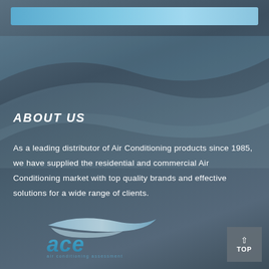[Figure (logo): Blue header bar at top of page]
ABOUT US
As a leading distributor of Air Conditioning products since 1985, we have supplied the residential and commercial Air Conditioning market with top quality brands and effective solutions for a wide range of clients.
[Figure (logo): ACE air conditioning assessment logo with stylized swoosh and blue text]
[Figure (other): TOP navigation button with upward arrow in gray box at bottom right]